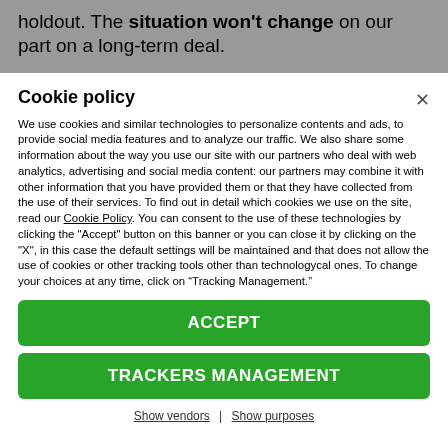holdout. The situation won't change on our part on a long-term deal.
Cookie policy
We use cookies and similar technologies to personalize contents and ads, to provide social media features and to analyze our traffic. We also share some information about the way you use our site with our partners who deal with web analytics, advertising and social media content: our partners may combine it with other information that you have provided them or that they have collected from the use of their services. To find out in detail which cookies we use on the site, read our Cookie Policy. You can consent to the use of these technologies by clicking the "Accept" button on this banner or you can close it by clicking on the "X", in this case the default settings will be maintained and that does not allow the use of cookies or other tracking tools other than technologycal ones. To change your choices at any time, click on “Tracking Management.”
ACCEPT
TRACKERS MANAGEMENT
Show vendors | Show purposes